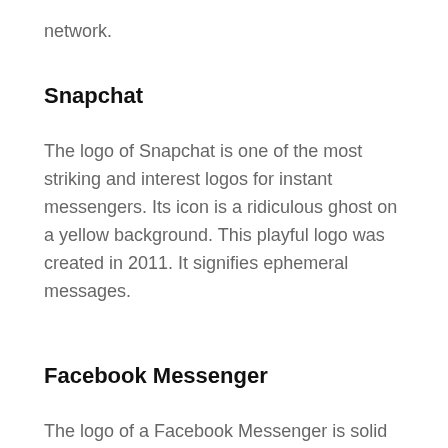network.
Snapchat
The logo of Snapchat is one of the most striking and interest logos for instant messengers. Its icon is a ridiculous ghost on a yellow background. This playful logo was created in 2011. It signifies ephemeral messages.
Facebook Messenger
The logo of a Facebook Messenger is solid geometry. It is a circle with an isosceles triangle of